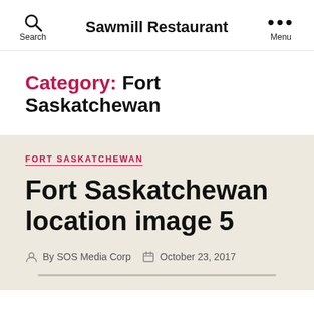Sawmill Restaurant
Category: Fort Saskatchewan
FORT SASKATCHEWAN
Fort Saskatchewan location image 5
By SOS Media Corp   October 23, 2017